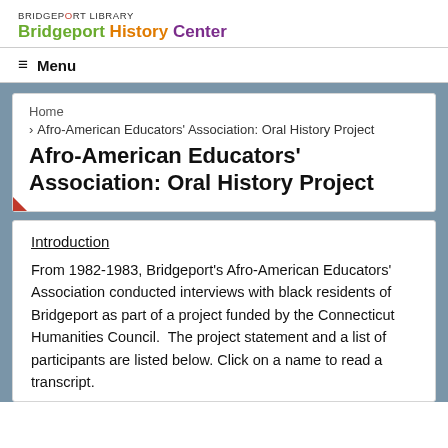BRIDGEPORT LIBRARY
Bridgeport History Center
Menu
Home
> Afro-American Educators' Association: Oral History Project
Afro-American Educators' Association: Oral History Project
Introduction
From 1982-1983, Bridgeport's Afro-American Educators' Association conducted interviews with black residents of Bridgeport as part of a project funded by the Connecticut Humanities Council.  The project statement and a list of participants are listed below. Click on a name to read a transcript.